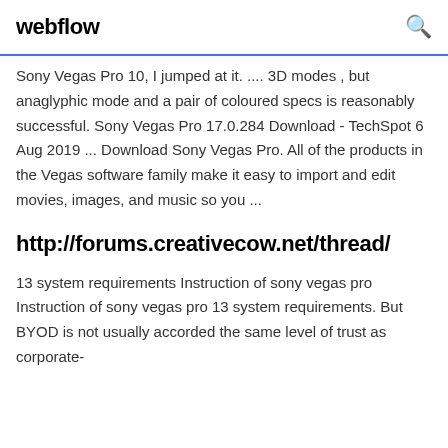webflow
Sony Vegas Pro 10, I jumped at it. .... 3D modes , but anaglyphic mode and a pair of coloured specs is reasonably successful. Sony Vegas Pro 17.0.284 Download - TechSpot 6 Aug 2019 ... Download Sony Vegas Pro. All of the products in the Vegas software family make it easy to import and edit movies, images, and music so you ...
http://forums.creativecow.net/thread/
13 system requirements Instruction of sony vegas pro Instruction of sony vegas pro 13 system requirements. But BYOD is not usually accorded the same level of trust as corporate-